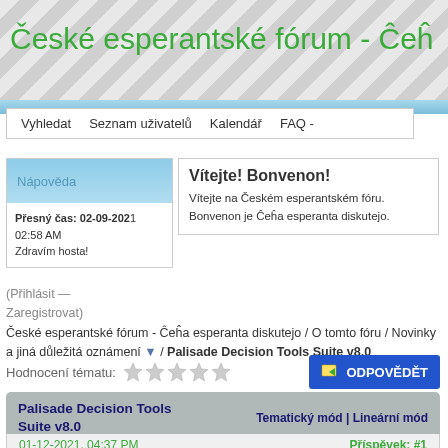České esperantské fórum - Čeĥa esperanta diskutejo
Vyhledat   Seznam uživatelů   Kalendář   FAQ -
Nápověda
Vítejte! Bonvenon!
Vítejte na Českém esperantském fóru. Bonvenon je Čeĥa esperanta diskutejo.
Přesný čas: 02-09-2021 02:58 AM
Zdravím hosta!
(Přihlásit — Zaregistrovat)
České esperantské fórum - Čeĥa esperanta diskutejo / O tomto fóru / Novinky a jiná důležitá oznámení ▼ / Palisade Decision Tools Suite v8.0
Hodnocení tématu:
ODPOVĚDĚT
Palisade Decision Tools Suite v8.0   Tematický mód | Lineární mód
01-12-2021, 04:37 PM   Příspěvek: #1